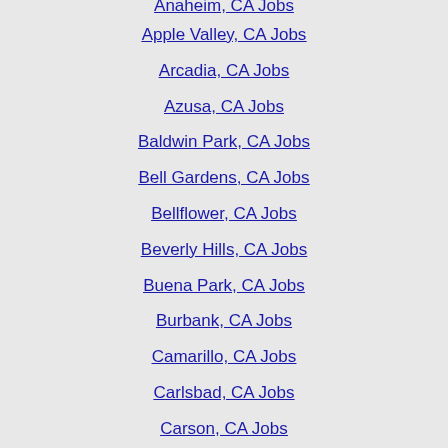Apple Valley, CA Jobs
Arcadia, CA Jobs
Azusa, CA Jobs
Baldwin Park, CA Jobs
Bell Gardens, CA Jobs
Bellflower, CA Jobs
Beverly Hills, CA Jobs
Buena Park, CA Jobs
Burbank, CA Jobs
Camarillo, CA Jobs
Carlsbad, CA Jobs
Carson, CA Jobs
Catalina Island, CA Jobs
Cathedral City, CA Jobs
Cerritos, CA Jobs
Chino Hills, CA Jobs
Chula Vista, CA Jobs
Coachella, CA Jobs